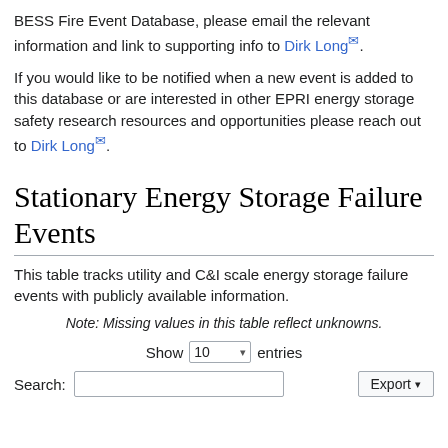BESS Fire Event Database, please email the relevant information and link to supporting info to Dirk Long.
If you would like to be notified when a new event is added to this database or are interested in other EPRI energy storage safety research resources and opportunities please reach out to Dirk Long.
Stationary Energy Storage Failure Events
This table tracks utility and C&I scale energy storage failure events with publicly available information.
Note: Missing values in this table reflect unknowns.
Show 10 entries
Search: [input] Export